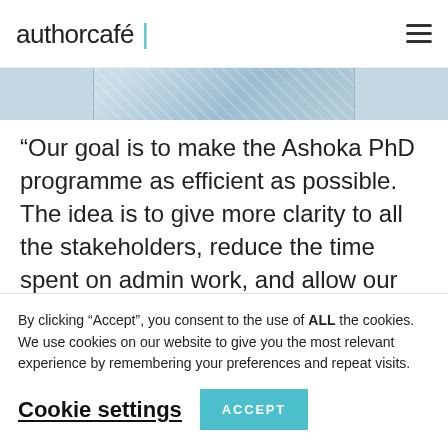authorcafé
[Figure (photo): Partial photo of a person wearing a plaid/checked shirt, cropped to show only the upper torso/shoulders area against a light background.]
“Our goal is to make the Ashoka PhD programme as efficient as possible. The idea is to give more clarity to all the stakeholders, reduce the time spent on admin work, and allow our scholars and faculty to focus on their academic
By clicking “Accept”, you consent to the use of ALL the cookies. We use cookies on our website to give you the most relevant experience by remembering your preferences and repeat visits.
Cookie settings
ACCEPT